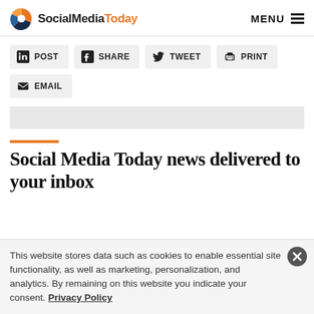SocialMediaToday MENU
[Figure (other): Social share buttons: POST (LinkedIn), SHARE (Facebook), TWEET (Twitter), PRINT, EMAIL]
[Figure (other): Gray advertisement banner placeholder]
Social Media Today news delivered to your inbox
This website stores data such as cookies to enable essential site functionality, as well as marketing, personalization, and analytics. By remaining on this website you indicate your consent. Privacy Policy